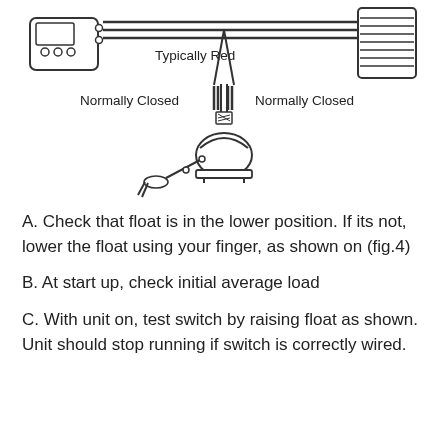[Figure (schematic): Wiring schematic showing a thermostat on the left connected via wires (labeled 'Typically Red') through two normally closed switch symbols to an HVAC unit on the right, with a float switch assembly at the bottom center.]
A. Check that float is in the lower position. If its not, lower the float using your finger, as shown on (fig.4)
B. At start up, check initial average load
C. With unit on, test switch by raising float as shown. Unit should stop running if switch is correctly wired.